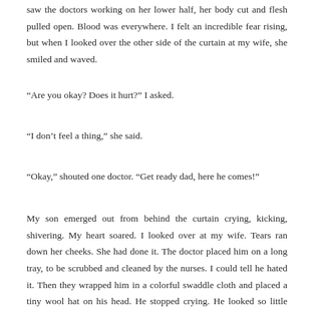saw the doctors working on her lower half, her body cut and flesh pulled open. Blood was everywhere. I felt an incredible fear rising, but when I looked over the other side of the curtain at my wife, she smiled and waved.
“Are you okay? Does it hurt?” I asked.
“I don’t feel a thing,” she said.
“Okay,” shouted one doctor. “Get ready dad, here he comes!”
My son emerged out from behind the curtain crying, kicking, shivering. My heart soared. I looked over at my wife. Tears ran down her cheeks. She had done it. The doctor placed him on a long tray, to be scrubbed and cleaned by the nurses. I could tell he hated it. Then they wrapped him in a colorful swaddle cloth and placed a tiny wool hat on his head. He stopped crying. He looked so little laying there. His eyes opened, and he looked around.